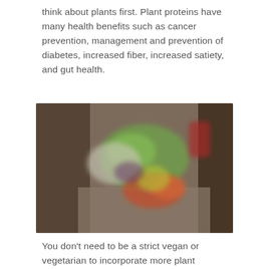think about plants first. Plant proteins have many health benefits such as cancer prevention, management and prevention of diabetes, increased fiber, increased satiety, and gut health.
[Figure (photo): Blurred photograph showing a colorful bowl or plate of vegetables and plant-based foods being held by hands, with green, red, and orange colored items visible.]
You don't need to be a strict vegan or vegetarian to incorporate more plant